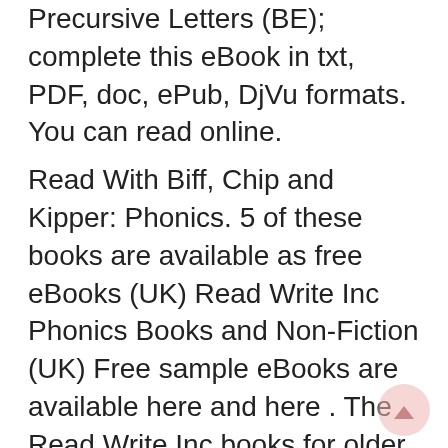Precursive Letters (BE); complete this eBook in txt, PDF, doc, ePub, DjVu formats. You can read online.
Read With Biff, Chip and Kipper: Phonics. 5 of these books are available as free eBooks (UK) Read Write Inc Phonics Books and Non-Fiction (UK) Free sample eBooks are available here and here . The Read Write Inc books for older learners are called Fresh Start .
jolly phonics workbook 6 Download jolly phonics workbook 6 or read online here in PDF or EPUB. Please click button to get jolly phonics workbook 6 book now.